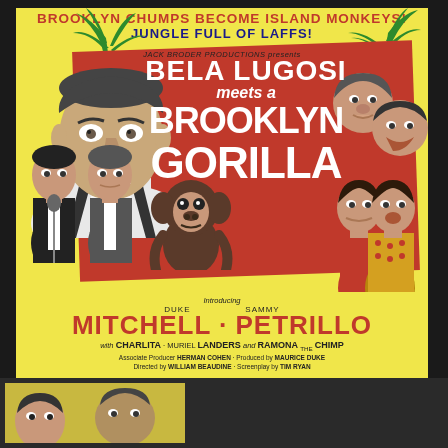[Figure (illustration): Vintage movie poster for 'Bela Lugosi meets a Brooklyn Gorilla' featuring Bela Lugosi's face, comedic duo, chimp, and supporting cast on a yellow background with red diagonal banner]
BROOKLYN CHUMPS BECOME ISLAND MONKEYS JUNGLE FULL OF LAFFS!
JACK BRODER PRODUCTIONS presents
BELA LUGOSI meets a BROOKLYN GORILLA
Introducing DUKE MITCHELL · SAMMY PETRILLO
with CHARLITA · MURIEL LANDERS and RAMONA THE CHIMP
Associate Producer HERMAN COHEN · Produced by MAURICE DUKE · Directed by WILLIAM BEAUDINE · Screenplay by TIM RYAN